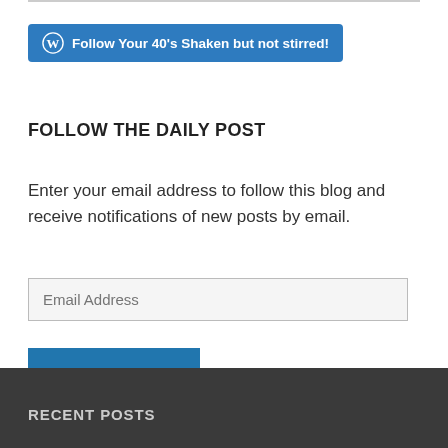[Figure (other): WordPress follow button with W logo and text 'Follow Your 40’s Shaken but not stirred!']
FOLLOW THE DAILY POST
Enter your email address to follow this blog and receive notifications of new posts by email.
Email Address
FOLLOW
RECENT POSTS